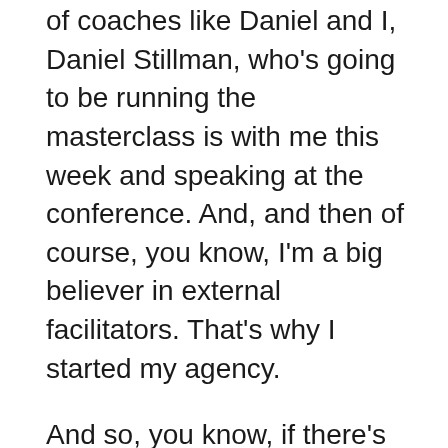of coaches like Daniel and I, Daniel Stillman, who's going to be running the masterclass is with me this week and speaking at the conference. And, and then of course, you know, I'm a big believer in external facilitators. That's why I started my agency.
And so, you know, if there's budget, highly recommend bringing an external facilitator because your team can focus on the hard work of creating the solutions and driving outcomes. And, and you can have someone that's external focused on the process, the methodology, keeping the time allocated, and everyone paying attention to all the nuance to make sure everyone's has space and whatnot. And I think that's very critical. And that is a way to have even more momentum potentially even